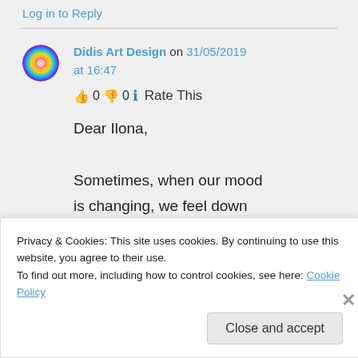Log in to Reply
Didis Art Design on 31/05/2019 at 16:47
👍 0 👎 0 ℹ Rate This
Dear Ilona,
Sometimes, when our mood is changing, we feel down and other days happy, like a
Privacy & Cookies: This site uses cookies. By continuing to use this website, you agree to their use. To find out more, including how to control cookies, see here: Cookie Policy
Close and accept